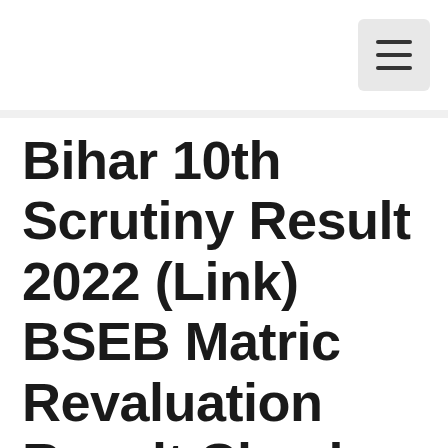≡
Bihar 10th Scrutiny Result 2022 (Link) BSEB Matric Revaluation Result Check